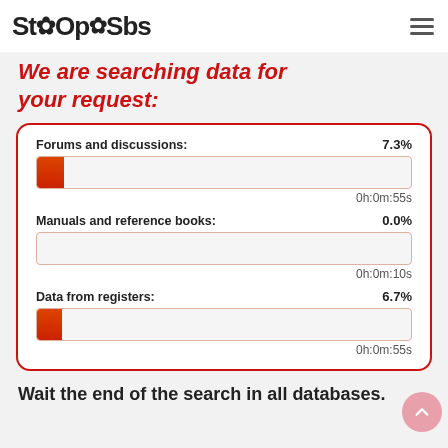StoOpSbs
We are searching data for your request:
Forums and discussions: 7.3%
0h:0m:55s
Manuals and reference books: 0.0%
0h:0m:10s
Data from registers: 6.7%
0h:0m:55s
Wait the end of the search in all databases.